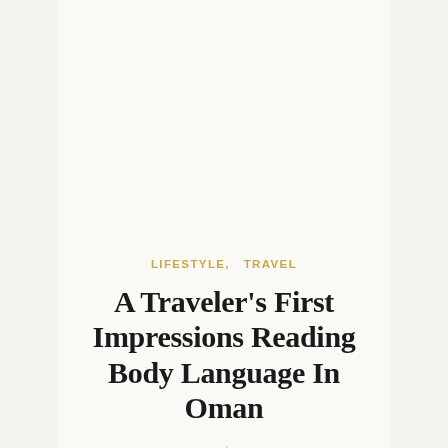LIFESTYLE,   TRAVEL
A Traveler's First Impressions Reading Body Language In Oman
MARCH 15, 2015   |   NO COMMENTS
VIEW POST
SHARE → [facebook] [twitter] [pinterest]